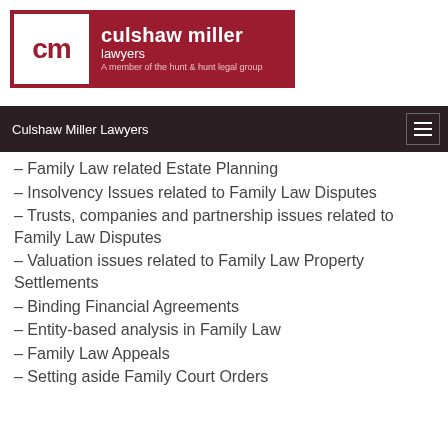[Figure (logo): Culshaw Miller Lawyers logo — red banner with white 'cm' box on left and firm name text on right]
Culshaw Miller Lawyers
– Family Law related Estate Planning
– Insolvency Issues related to Family Law Disputes
– Trusts, companies and partnership issues related to Family Law Disputes
– Valuation issues related to Family Law Property Settlements
– Binding Financial Agreements
– Entity-based analysis in Family Law
– Family Law Appeals
– Setting aside Family Court Orders